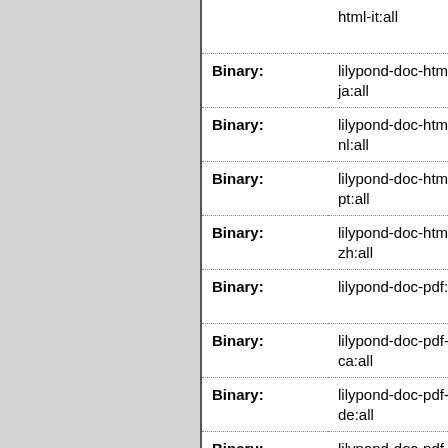| Type | Package | Info |
| --- | --- | --- |
|  | html-it:all | re... |
| Binary: | lilypond-doc-html-ja:all | p re... |
| Binary: | lilypond-doc-html-nl:all | p re... |
| Binary: | lilypond-doc-html-pt:all | p re... |
| Binary: | lilypond-doc-html-zh:all | p re... |
| Binary: | lilypond-doc-pdf:all | p re... |
| Binary: | lilypond-doc-pdf-ca:all | p re... |
| Binary: | lilypond-doc-pdf-de:all | p re... |
| Binary: | lilypond-doc-pdf-es:all | p re... |
| Binary: | lilypond-doc-pdf-fr:all | p re... |
| Binary: | lilypond-doc-pdf-hu:all | p re... |